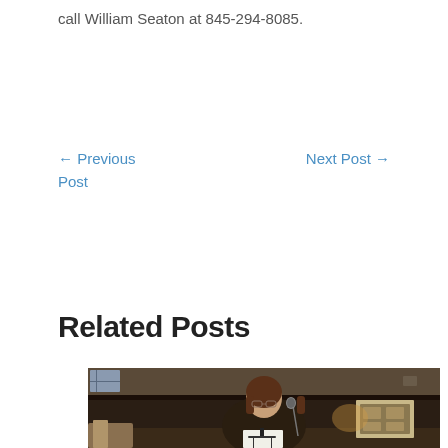call William Seaton at 845-294-8085.
← Previous Post
Next Post →
Related Posts
[Figure (photo): A woman with glasses and brown hair stands at a microphone and music stand, reading papers in a darkened venue with framed artwork visible on the walls behind her.]